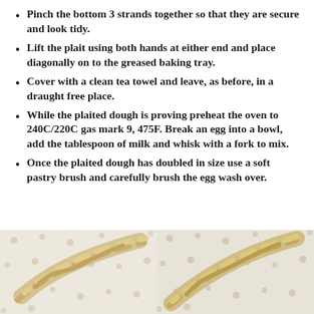Pinch the bottom 3 strands together so that they are secure and look tidy.
Lift the plait using both hands at either end and place diagonally on to the greased baking tray.
Cover with a clean tea towel and leave, as before, in a draught free place.
While the plaited dough is proving preheat the oven to 240C/220C gas mark 9, 475F. Break an egg into a bowl, add the tablespoon of milk and whisk with a fork to mix.
Once the plaited dough has doubled in size use a soft pastry brush and carefully brush the egg wash over.
[Figure (photo): Two photos of braided dough loaves on a polka-dot fabric surface, side by side.]